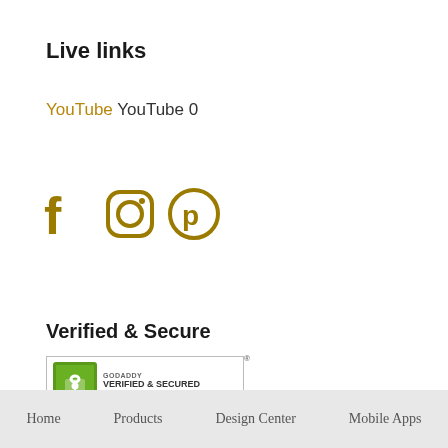Live links
YouTube YouTube 0
[Figure (illustration): Social media icons: Facebook, Instagram, Pinterest in dark golden/olive color]
Verified & Secure
[Figure (logo): GoDaddy Verified & Secured badge with green shield icon and 'VERIFY SECURITY' text, registered trademark symbol]
Home   Products   Design Center   Mobile Apps